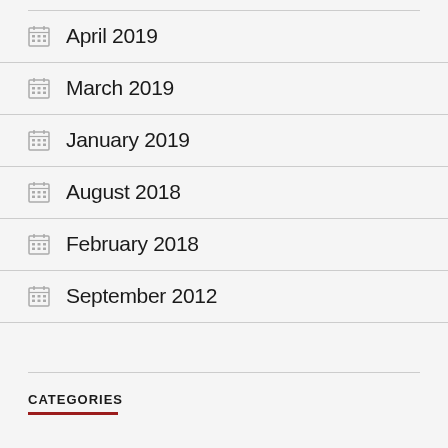April 2019
March 2019
January 2019
August 2018
February 2018
September 2012
CATEGORIES